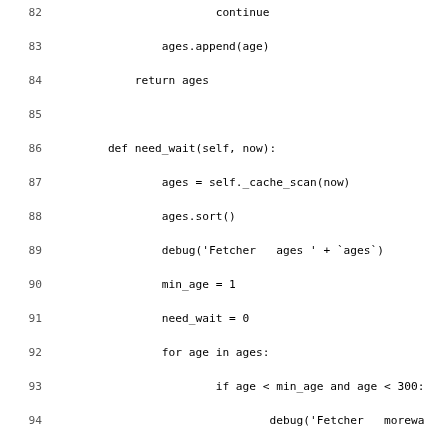[Figure (screenshot): Python source code listing showing lines 82-114 of a web fetcher/cache class. Methods include need_wait() and _rate_limit_cache_clean() and fetch(). Line numbers shown on left margin.]